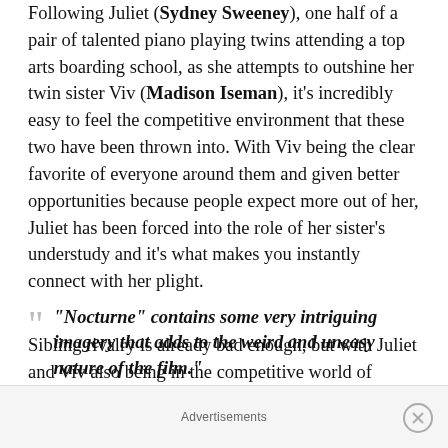Following Juliet (Sydney Sweeney), one half of a pair of talented piano playing twins attending a top arts boarding school, as she attempts to outshine her twin sister Viv (Madison Iseman), it's incredibly easy to feel the competitive environment that these two have been thrown into. With Viv being the clear favorite of everyone around them and given better opportunities because people expect more out of her, Juliet has been forced into the role of her sister's understudy and it's what makes you instantly connect with her plight.
“Nocturne” contains some very intriguing imagery that adds to the weird and uneasy nature of the film.”
Sibling rivalry is already bad enough, but with Juliet and Viv also being in the competitive world of music, their silent rivalry is heightened everytime an opportunity
Advertisements